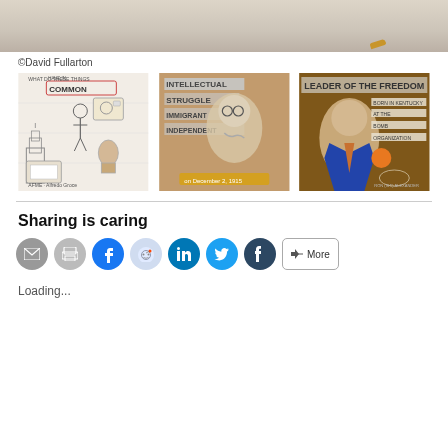[Figure (photo): Top cropped artwork image showing a light beige/tan background, partial illustration]
©David Fullarton
[Figure (photo): Three art prints in a gallery row: left shows collage illustration with 'WHAT DO THESE THINGS HAVE IN COMMON' text and various drawings; center shows portrait with 'INTELLECTUAL STRUGGLE IMMIGRANT INDEPENDENT' text; right shows portrait with 'LEADER OF THE FREEDOM' text on brown background]
Sharing is caring
[Figure (infographic): Social sharing buttons row: email (grey), print (grey), Facebook (blue), Reddit (light blue), LinkedIn (blue), Twitter (cyan), Tumblr (dark blue), More button]
Loading...